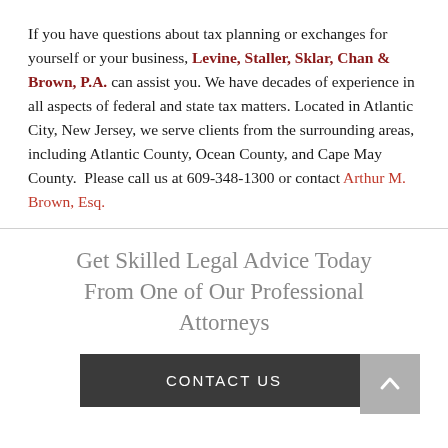If you have questions about tax planning or exchanges for yourself or your business, Levine, Staller, Sklar, Chan & Brown, P.A. can assist you. We have decades of experience in all aspects of federal and state tax matters. Located in Atlantic City, New Jersey, we serve clients from the surrounding areas, including Atlantic County, Ocean County, and Cape May County.  Please call us at 609-348-1300 or contact Arthur M. Brown, Esq.
Get Skilled Legal Advice Today From One of Our Professional Attorneys